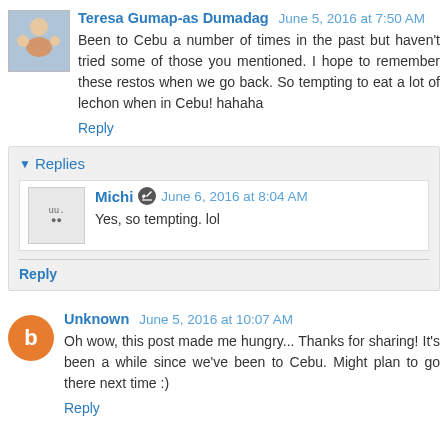Teresa Gumap-as Dumadag June 5, 2016 at 7:50 AM
Been to Cebu a number of times in the past but haven't tried some of those you mentioned. I hope to remember these restos when we go back. So tempting to eat a lot of lechon when in Cebu! hahaha
Reply
Replies
Michi June 6, 2016 at 8:04 AM
Yes, so tempting. lol
Reply
Unknown June 5, 2016 at 10:07 AM
Oh wow, this post made me hungry... Thanks for sharing! It's been a while since we've been to Cebu. Might plan to go there next time :)
Reply